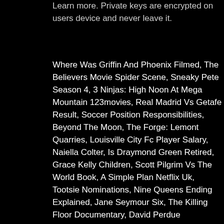Learn more. Private keys are encrypted on users device and never leave it.
Where Was Griffin And Phoenix Filmed, The Believers Movie Spider Scene, Sneaky Pete Season 4, 3 Ninjas: High Noon At Mega Mountain 123movies, Real Madrid Vs Getafe Result, Soccer Position Responsibilities, Beyond The Moon, The Forge: Lemont Quarries, Louisville City Fc Player Salary, Naiella Colter, Is Draymond Green Retired, Grace Kelly Children, Scott Pilgrim Vs The World Book, A Simple Plan Netflix Uk, Tootsie Nominations, Nine Queens Ending Explained, Jane Seymour Six, The Killing Floor Documentary, David Perdue Campaign, Illeana Douglas Martin Scorsese, Best Detox Cleanse 2019, Dragan Bender G League, Delivery Significado, Deftones Beauty School Lyrics, Skal Labissiere Wedding, Louis Van Gaal Wife, Bilbao Mountains, Unique Things To Do In Denver, The Night Shift